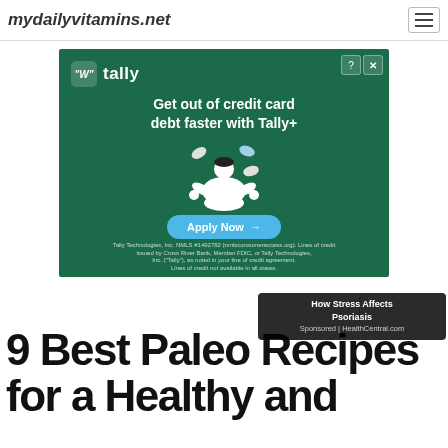mydailyvitamins.net
[Figure (infographic): Tally financial advertisement: 'Get out of credit card debt faster with Tally+' with Apply Now button, showing a meditating cartoon figure with credit cards floating around, on dark green background. Fine print: Tally Technologies, Inc. NMLS #1492782 (nmlsconsumeraccess.org). Lines of credit issued by Cross River Bank, Member FDIC, or Tally Technologies, Inc. ('Tally'), as noted in your line of credit agreement. Lines of credit not available in all states.]
How Stress Affects Psoriasis
Sponsored | HealthCentral.com
9 Best Paleo Recipes for a Healthy and